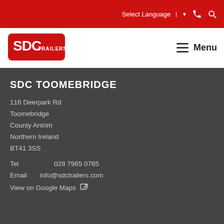Select Language | ▼ [phone icon] [search icon]
[Figure (logo): SDC Trailers logo in red with white text]
Menu
SDC TOOMEBRIDGE
116 Deerpark Rd
Toomebridge
County Antrim
Northern Ireland
BT41 3SS
Tel       028 7965 0765
Email   info@sdctrailers.com
View on Google Maps [external link icon]